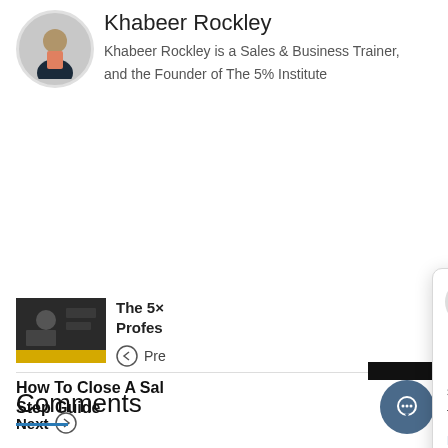[Figure (photo): Circular avatar photo of Khabeer Rockley, a man in a dark suit with pink shirt]
Khabeer Rockley
Khabeer Rockley is a Sales & Business Trainer, and the Founder of The 5% Institute
[Figure (photo): Thumbnail image of a person at a desk with coffee cups, with a yellow bar at the bottom]
The 5x
Profes
← Pre
How To Close A Sale Step Guide
Next →
Comments
[Figure (screenshot): Chat popup with avatar of person in suit, close button X, and message: Nice to meet you! Have any sales training questions? If so, check out our online sales training course here: https://www.5percentinstitute.c… percent-sales-blueprint]